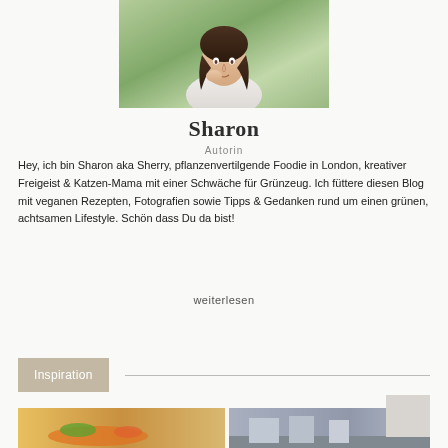[Figure (photo): Portrait photo of Sharon, a young woman with long dark hair sitting outdoors on grass, resting her chin on her hand, wearing a white top.]
Sharon
Autorin
Hey, ich bin Sharon aka Sherry, pflanzenvertilgende Foodie in London, kreativer Freigeist & Katzen-Mama mit einer Schwäche für Grünzeug. Ich füttere diesen Blog mit veganen Rezepten, Fotografien sowie Tipps & Gedanken rund um einen grünen, achtsamen Lifestyle. Schön dass Du da bist!
weiterlesen
Inspiration
[Figure (photo): Small thumbnail of food dish with orange and green colors.]
[Figure (photo): Small thumbnail of a street or outdoor scene.]